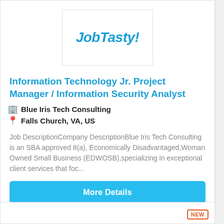[Figure (logo): JobTasty! logo in bold italic blue text inside a bordered rectangle]
Information Technology Jr. Project Manager / Information Security Analyst
🏢 Blue Iris Tech Consulting
📍 Falls Church, VA, US
Job DescriptionCompany DescriptionBlue Iris Tech Consulting is an SBA approved 8(a), Economically Disadvantaged,Woman Owned Small Business (EDWOSB),specializing in exceptional client services that foc...
More Details
NEW